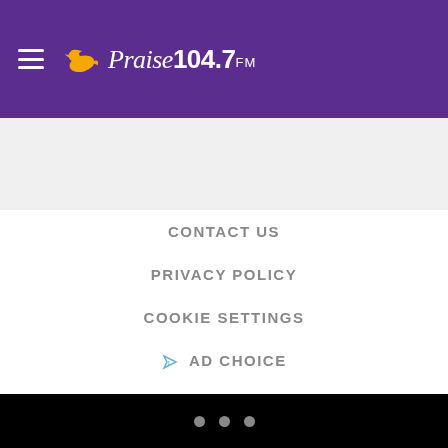[Figure (logo): Praise 104.7 FM radio station logo with white bird/dove icon and white text on purple background, with hamburger menu icon]
CONTACT US
PRIVACY POLICY
COOKIE SETTINGS
AD CHOICE
ADVERTISE WITH US
TERMS OF SERVICE
EEO
CAREERS